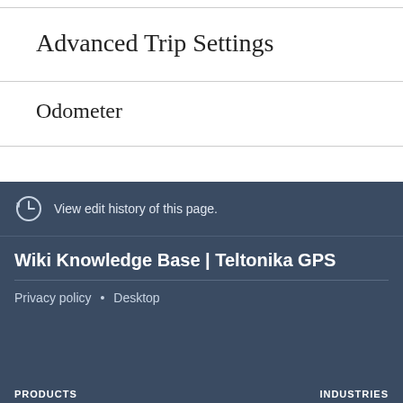Advanced Trip Settings
Odometer
View edit history of this page.
Wiki Knowledge Base | Teltonika GPS
Privacy policy • Desktop
PRODUCTS   INDUSTRIES